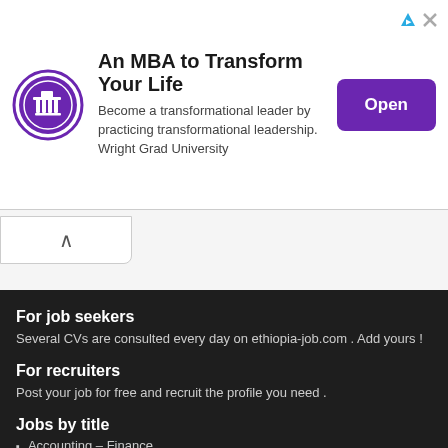[Figure (infographic): Advertisement banner for Wright Grad University MBA program with university logo, title, description text and an Open button]
An MBA to Transform Your Life
Become a transformational leader by practicing transformational leadership. Wright Grad University
For job seekers
Several CVs are consulted every day on ethiopia-job.com . Add yours !
For recruiters
Post your job for free and recruit the profile you need .
Jobs by title
Accounting – Finance
Administration
Agriculture